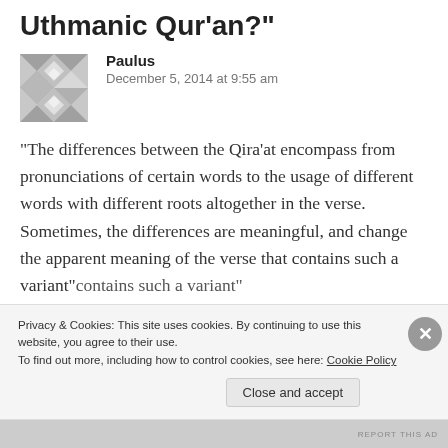Uthmanic Qur'an?"
Paulus
December 5, 2014 at 9:55 am
“The differences between the Qira’at encompass from pronunciations of certain words to the usage of different words with different roots altogether in the verse. Sometimes, the differences are meaningful, and change the apparent meaning of the verse that contains such a variant”
Privacy & Cookies: This site uses cookies. By continuing to use this website, you agree to their use.
To find out more, including how to control cookies, see here: Cookie Policy
Close and accept